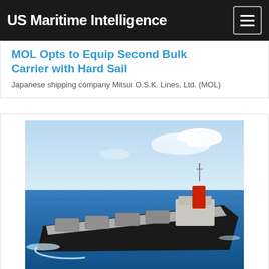US Maritime Intelligence
MOL Opts to Equip Second Bulk Carrier with Hard Sail
Japanese shipping company Mitsui O.S.K. Lines, Ltd. (MOL)
[Figure (photo): 3D rendering of a bulk carrier ship navigating open ocean, with red funnel and multiple cargo hatches visible from an aerial perspective.]
MOL, Tata Steel to Develop